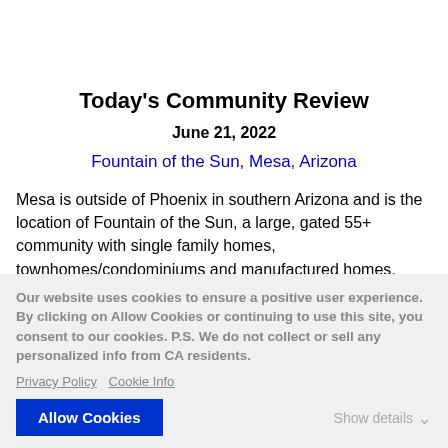Today's Community Review
June 21, 2022
Fountain of the Sun, Mesa, Arizona
Mesa is outside of Phoenix in southern Arizona and is the location of Fountain of the Sun, a large, gated 55+ community with single family homes, townhomes/condominiums and manufactured homes.
Our website uses cookies to ensure a positive user experience. By clicking on Allow Cookies or continuing to use this site, you consent to our cookies. P.S. We do not collect or sell any personalized info from CA residents.
Privacy Policy  Cookie Info
Allow Cookies
Show details